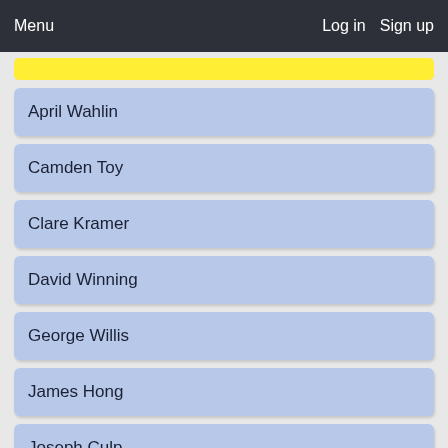Menu  Log in  Sign up
April Wahlin
Camden Toy
Clare Kramer
David Winning
George Willis
James Hong
Joseph Culp
Larry Nemecek